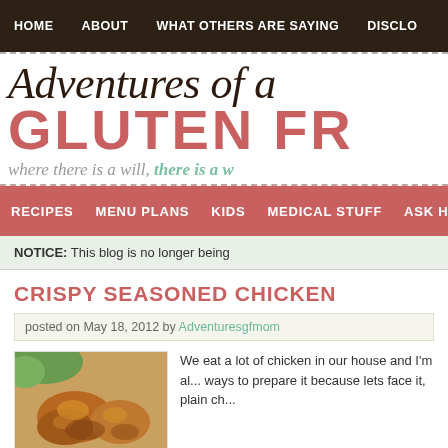HOME   ABOUT   WHAT OTHERS ARE SAYING   DISCLO...
Adventures of a GLUTEN FR... where there is a will, there is a w...
RECIPES   MENU PLANS   KIDS   MEDICAL STUFF   ASK HE...
NOTICE: This blog is no longer being...
CRISPY SEASONED CHICKEN
posted on May 18, 2012 by Adventuresgfmom
[Figure (photo): Photo of crispy seasoned chicken pieces]
We eat a lot of chicken in our house and I'm al... ways to prepare it because lets face it, plain ch...